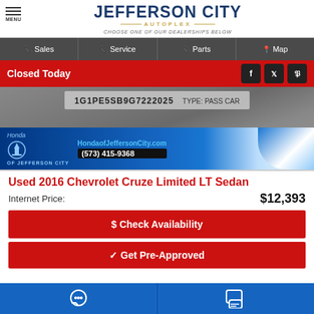Jefferson City Autoplex — Choose one of our dealerships below
Sales | Service | Parts | Map
Closed Today
[Figure (photo): Photo of a vehicle VIN sticker showing 1G1PE5SB9G7222025, TYPE: PASS CAR, with Honda of Jefferson City dealer overlay showing HondaofJeffersonCity.com and (573) 415-9368]
Used 2016 Chevrolet Cruze Limited LT Sedan
Internet Price: $12,393
$ Check Availability
✓ Get Pre-Approved